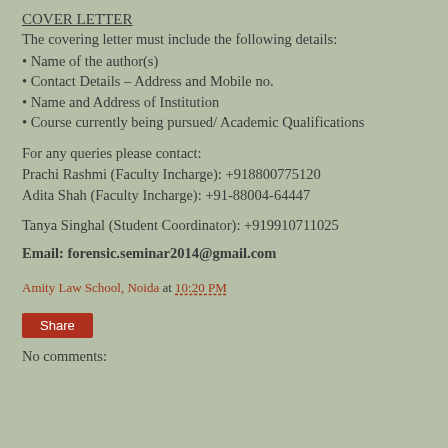COVER LETTER
The covering letter must include the following details:
• Name of the author(s)
• Contact Details – Address and Mobile no.
• Name and Address of Institution
• Course currently being pursued/ Academic Qualifications
For any queries please contact:
Prachi Rashmi (Faculty Incharge): +918800775120
Adita Shah (Faculty Incharge): +91-88004-64447
Tanya Singhal (Student Coordinator): +919910711025
Email: forensic.seminar2014@gmail.com
Amity Law School, Noida at 10:20 PM
Share
No comments: